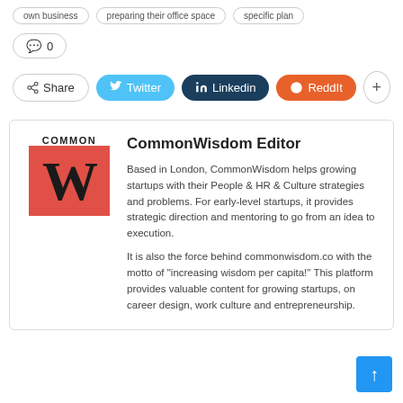own business
preparing their office space
specific plan
0
Share  Twitter  Linkedin  ReddIt  +
[Figure (logo): CommonWisdom logo: COMMON text above a red square with a bold black W lettermark]
CommonWisdom Editor
Based in London, CommonWisdom helps growing startups with their People & HR & Culture strategies and problems. For early-level startups, it provides strategic direction and mentoring to go from an idea to execution.
It is also the force behind commonwisdom.co with the motto of "increasing wisdom per capita!" This platform provides valuable content for growing startups, on career design, work culture and entrepreneurship.